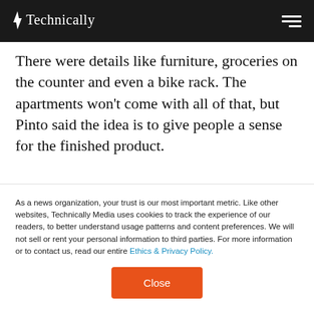Technically
There were details like furniture, groceries on the counter and even a bike rack. The apartments won't come with all of that, but Pinto said the idea is to give people a sense for the finished product.
As a news organization, your trust is our most important metric. Like other websites, Technically Media uses cookies to track the experience of our readers, to better understand usage patterns and content preferences. We will not sell or rent your personal information to third parties. For more information or to contact us, read our entire Ethics & Privacy Policy.
Close